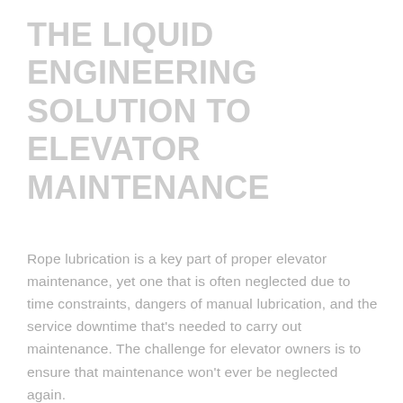THE LIQUID ENGINEERING SOLUTION TO ELEVATOR MAINTENANCE
Rope lubrication is a key part of proper elevator maintenance, yet one that is often neglected due to time constraints, dangers of manual lubrication, and the service downtime that's needed to carry out maintenance. The challenge for elevator owners is to ensure that maintenance won't ever be neglected again.
Castrol® LubeCon has solved this major challenge by introducing automated lubrication to the elevator industry: with custom-fit and custom-mounted lubricators that are placed at pre-determined intervals along each wire rope. These combine with a centrally located reservoir to dispense precise micro ejections of dry-film lubricant at regular intervals, penetrating